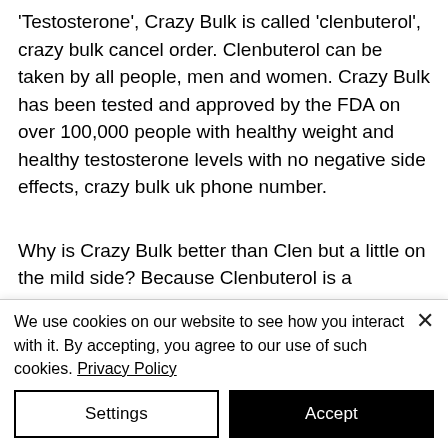'Testosterone', Crazy Bulk is called 'clenbuterol', crazy bulk cancel order. Clenbuterol can be taken by all people, men and women. Crazy Bulk has been tested and approved by the FDA on over 100,000 people with healthy weight and healthy testosterone levels with no negative side effects, crazy bulk uk phone number.
Why is Crazy Bulk better than Clen but a little on the mild side? Because Clenbuterol is a hormone blocker, meaning your body needs a hormone to keep you feeling full
We use cookies on our website to see how you interact with it. By accepting, you agree to our use of such cookies. Privacy Policy